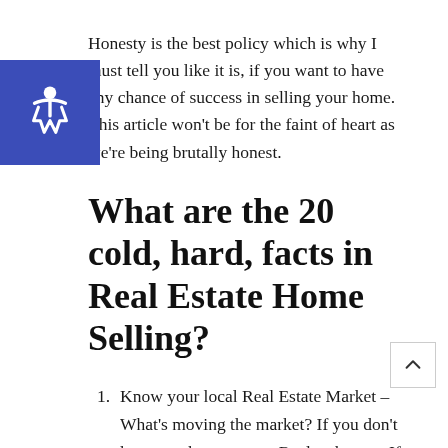Honesty is the best policy which is why I must tell you like it is, if you want to have any chance of success in selling your home. This article won't be for the faint of heart as we're being brutally honest.
What are the 20 cold, hard, facts in Real Estate Home Selling?
Know your local Real Estate Market –  What's moving the market? If you don't know, make sure your Realtor knows. If your Realtor doesn't know, find another Realtor who does know. Real Estate will always be local and to be able to sell your home, it's critical to know what the local trends are for your